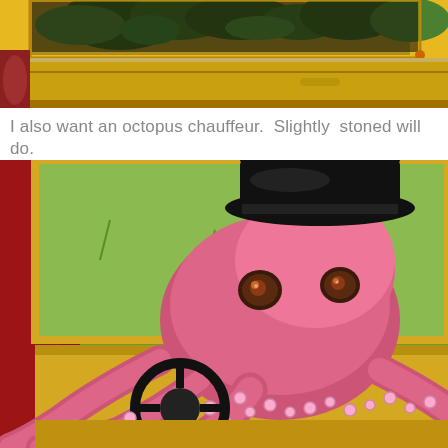[Figure (photo): Close-up of a yellow car with green plants/foliage visible through and around the vehicle, showing the car door and interior with plants overflowing.]
I also want an octopus chauffeur.  Slightly  stoned will do.
[Figure (photo): A pink octopus figurine/sculpture wearing a black chauffeur's cap, sitting in a car and holding a steering wheel with its tentacles. Green grass visible through the windshield.]